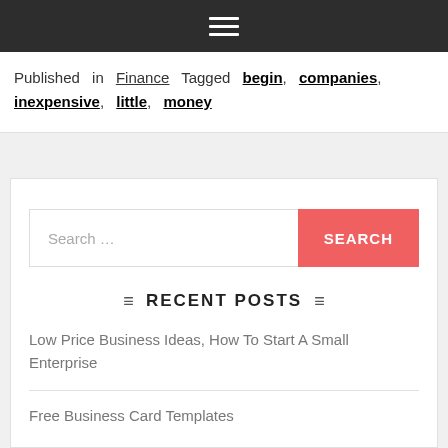☰ (hamburger menu icon)
Published in Finance Tagged begin, companies, inexpensive, little, money
[Figure (other): Search bar with text 'Search ...' and a red SEARCH button]
RECENT POSTS
Low Price Business Ideas, How To Start A Small Enterprise
Free Business Card Templates